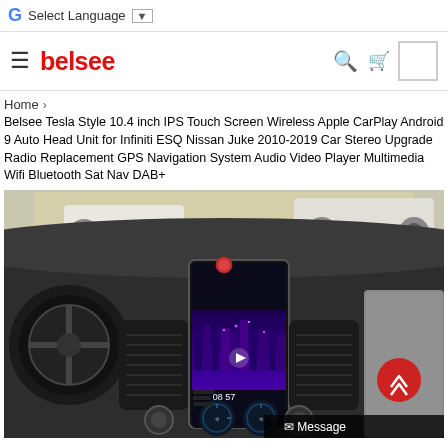G Select Language ▼
belsee — navigation bar with search and cart icons
Home >
Belsee Tesla Style 10.4 inch IPS Touch Screen Wireless Apple CarPlay Android 9 Auto Head Unit for Infiniti ESQ Nissan Juke 2010-2019 Car Stereo Upgrade Radio Replacement GPS Navigation System Audio Video Player Multimedia Wifi Bluetooth Sat Nav DAB+
[Figure (photo): Interior car dashboard photo showing a Tesla-style vertical touchscreen head unit installed in a Nissan Juke, displaying a city skyline background with digital gauges, time 08:57, viewed from driver's perspective with steering wheel visible on left.]